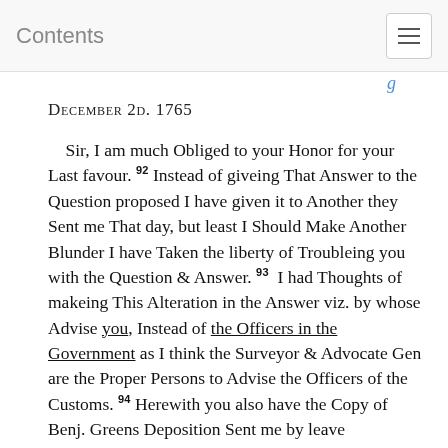Contents
December 2d. 1765
Sir, I am much Obliged to your Honor for your Last favour. 92 Instead of giveing That Answer to the Question proposed I have given it to Another they Sent me That day, but least I Should Make Another Blunder I have Taken the liberty of Troubleing you with the Question & Answer. 93 I had Thoughts of makeing This Alteration in the Answer viz. by whose Advise you, Instead of the Officers in the Government as I think the Surveyor & Advocate Gen are the Proper Persons to Advise the Officers of the Customs. 94 Herewith you also have the Copy of Benj. Greens Deposition Sent me by leave